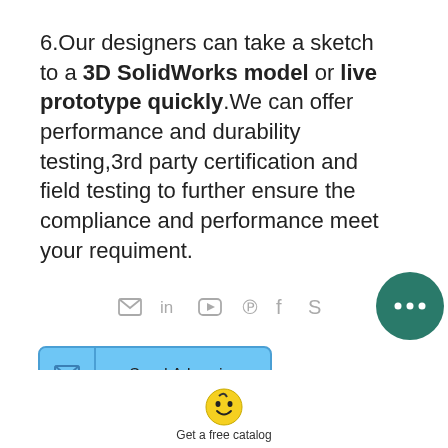6.Our designers can take a sketch to a 3D SolidWorks model or live prototype quickly.We can offer performance and durability testing,3rd party certification and field testing to further ensure the compliance and performance meet your requiment.
[Figure (illustration): Social media icons: email, LinkedIn, YouTube, Pinterest, Facebook, Skype]
[Figure (illustration): Blue 'Send A Inquiry' button with envelope icon]
[Figure (illustration): Smiley face icon with 'Get a free catalog' text at bottom]